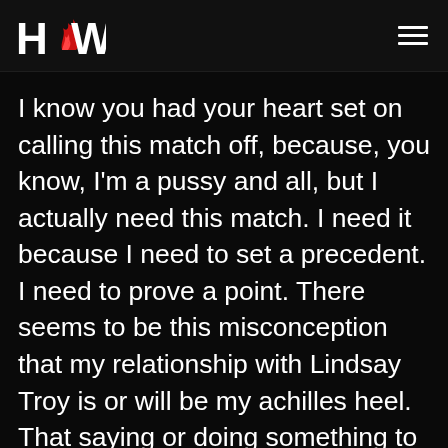HCW logo and navigation
I know you had your heart set on calling this match off, because, you know, I'm a pussy and all, but I actually need this match. I need it because I need to set a precedent. I need to prove a point. There seems to be this misconception that my relationship with Lindsay Troy is or will be my achilles heel. That saying or doing something to her will send me in a blind fit of rage and I'll fuck up and fall down.